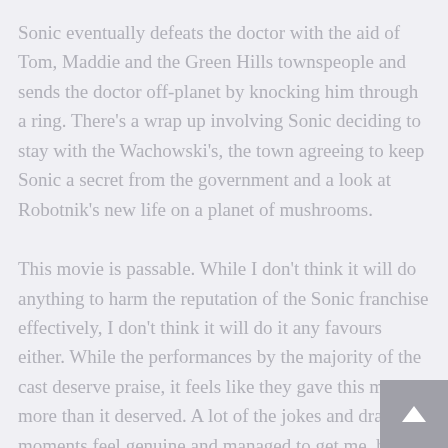Sonic eventually defeats the doctor with the aid of Tom, Maddie and the Green Hills townspeople and sends the doctor off-planet by knocking him through a ring. There's a wrap up involving Sonic deciding to stay with the Wachowski's, the town agreeing to keep Sonic a secret from the government and a look at Robotnik's new life on a planet of mushrooms.
This movie is passable. While I don't think it will do anything to harm the reputation of the Sonic franchise effectively, I don't think it will do it any favours either. While the performances by the majority of the cast deserve praise, it feels like they gave this movie more than it deserved. A lot of the jokes and dramatic moments feel genuine and managed to get me, but there's a